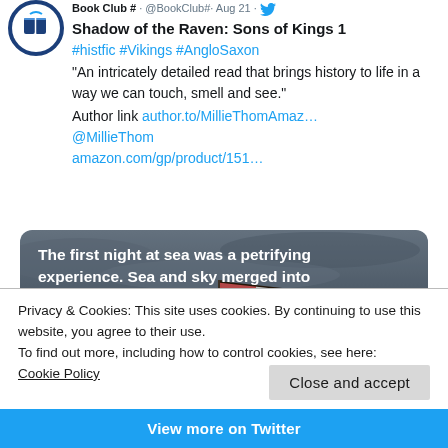[Figure (screenshot): Twitter/Book Club avatar - circular logo with book and blue border]
Shadow of the Raven: Sons of Kings 1
#histfic #Vikings #AngloSaxon
"An intricately detailed read that brings history to life in a way we can touch, smell and see."
Author link author.to/MillieThomAmaz…
@MillieThom
amazon.com/gp/product/151…
[Figure (photo): Image of a Viking longship with red and white striped sails against a dark stormy sky, with overlaid white bold text: 'The first night at sea was a petrifying experience. Sea and sky merged into each other . . . an all-consuming blanket of darkness']
Privacy & Cookies: This site uses cookies. By continuing to use this website, you agree to their use.
To find out more, including how to control cookies, see here:
Cookie Policy
Close and accept
View more on Twitter